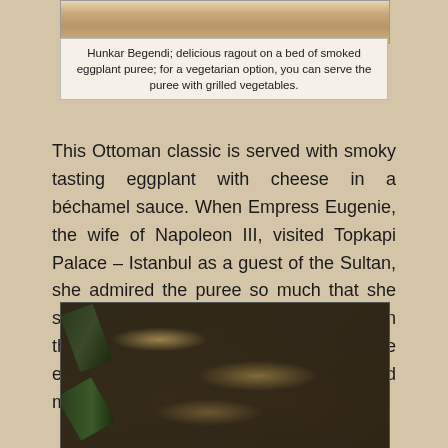[Figure (photo): Top portion of a photo showing Hunkar Begendi dish — smoked eggplant puree with ragout, partial view at top of page]
Hunkar Begendi; delicious ragout on a bed of smoked eggplant puree; for a vegetarian option, you can serve the puree with grilled vegetables.
This Ottoman classic is served with smoky tasting eggplant with cheese in a béchamel sauce. When Empress Eugenie, the wife of Napoleon III, visited Topkapi Palace – Istanbul as a guest of the Sultan, she admired the puree so much that she sent her chef to Topkapi Palace to learn the technique. Once you've mastered the eggplant puree, it goes well with any grilled meat or vegetables.
[Figure (photo): Close-up photograph of smoked/grilled eggplants, halved and charred, showing the interior flesh with stems visible on the left side, placed on a white surface]